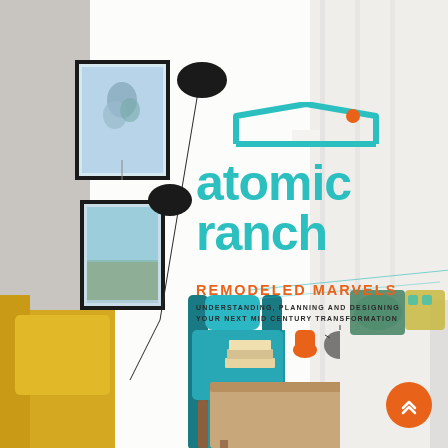[Figure (photo): Mid-century modern living room interior with yellow and teal chairs, framed art on wall, floor lamp, coffee table with books and decor objects, white sofa with patterned pillows. Magazine cover image for Atomic Ranch.]
atomic ranch
REMODELED MARVELS
UNDERSTANDING, PLANNING AND DESIGNING YOUR NEXT MID CENTURY TRANSFORMATION